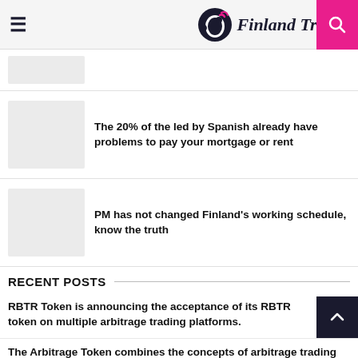Finland Tribune
[Figure (other): Placeholder thumbnail image (light gray box)]
The 20% of the led by Spanish already have problems to pay your mortgage or rent
[Figure (other): Placeholder thumbnail image (light gray box)]
PM has not changed Finland's working schedule, know the truth
RECENT POSTS
RBTR Token is announcing the acceptance of its RBTR token on multiple arbitrage trading platforms.
The Arbitrage Token combines the concepts of arbitrage trading and cryptocurrency to enhance the trading strategies